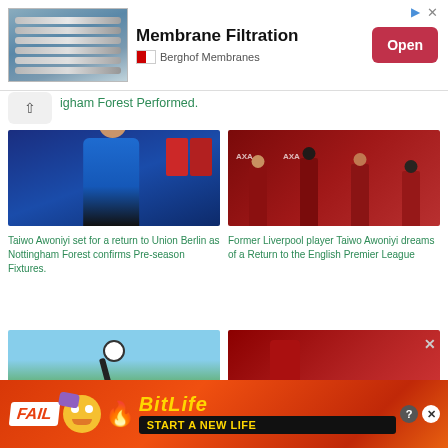[Figure (photo): Advertisement banner for Berghof Membranes Membrane Filtration product with an image of industrial pipes/tubes, an Open button, and ad icons]
igham Forest Performed.
[Figure (photo): Photo of Taiwo Awoniyi in a blue Nottingham Forest jersey, signing something, with red jerseys in background]
[Figure (photo): Photo of Liverpool players in red training gear running on a training pitch]
Taiwo Awoniyi set for a return to Union Berlin as Nottingham Forest confirms Pre-season Fixtures.
Former Liverpool player Taiwo Awoniyi dreams of a Return to the English Premier League
[Figure (photo): Partial image of a soccer ball in the air against a blue sky with green grass]
[Figure (photo): Partial image of a person in red sports clothing]
[Figure (photo): Advertisement banner for BitLife game - FAIL START A NEW LIFE with cartoon animation and fire graphics]